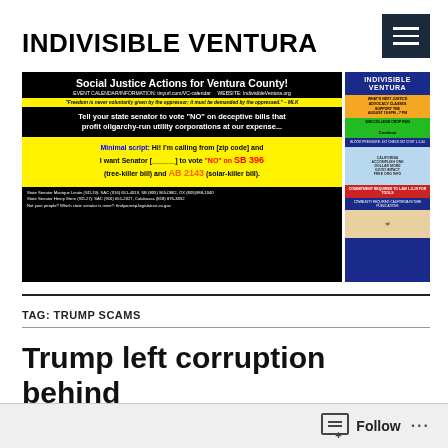INDIVISIBLE VENTURA
[Figure (infographic): Social Justice Actions for Ventura County banner with event calendar info, quote from MLK, call to action to tell state senator to vote NO on deceptive bills, minimal calling script about SB 396 (tree-killer bill) and AB 2143 (solar-killer bill), contact information for State Senators, and Indivisible Ventura logo with event listings on right side.]
TAG: TRUMP SCAMS
Trump left corruption behind